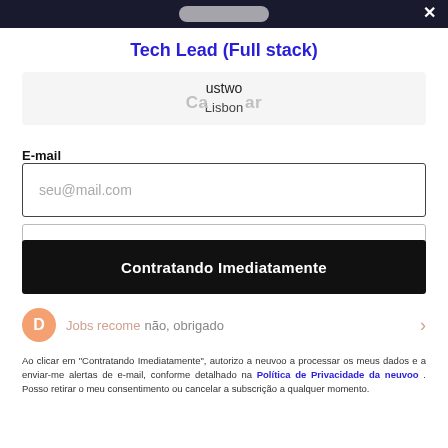Tech Lead (Full stack) — ustwo — Lisbon
Tech Lead (Full stack)
ustwo
Lisbon
E-mail
seu@mail.com
Contratando Imediatamente
Jobs recom… não, obrigado
Ao clicar em "Contratando Imediatamente", autorizo a neuvoo a processar os meus dados e a enviar-me alertas de e-mail, conforme detalhado na Política de Privacidade da neuvoo . Posso retirar o meu consentimento ou cancelar a subscrição a qualquer momento.